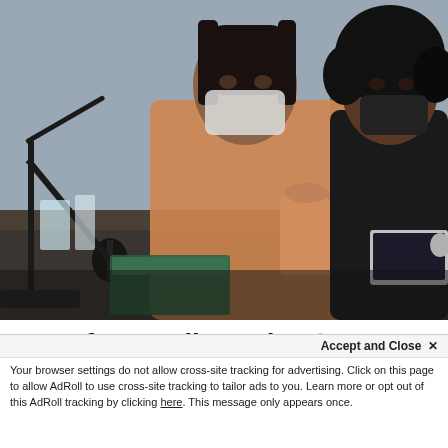[Figure (photo): Two students wearing face masks working at a laboratory bench. One student in an orange turtleneck sweater is handling a plastic bottle with a blue cap connected to tubing and a microphone stand apparatus. Another student in a black hoodie sits nearby with a laptop open. Various lab equipment and supplies are visible on the bench.]
Transfer Credit Evaluation
Your browser settings do not allow cross-site tracking for advertising. Click on this page to allow AdRoll to use cross-site tracking to tailor ads to you. Learn more or opt out of this AdRoll tracking by clicking here. This message only appears once.
use which courses you earn transfer and how they'll apply to